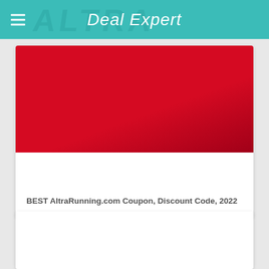Deal Expert
[Figure (photo): Red banner image for AltraRunning.com coupon article]
BEST AltraRunning.com Coupon, Discount Code, 2022
[Figure (photo): Partial second card/article image at bottom of page]